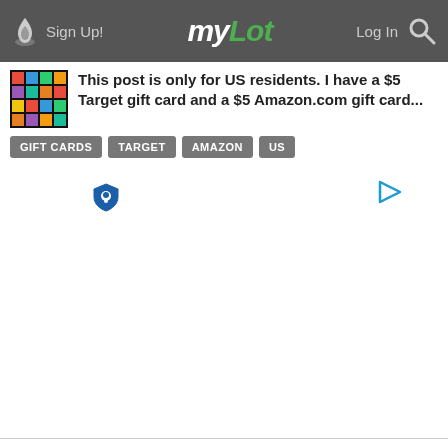myLot — Sign Up! | Log In
This post is only for US residents. I have a $5 Target gift card and a $5 Amazon.com gift card...
GIFT CARDS
TARGET
AMAZON
US
[Figure (other): Advertisement placeholder area with privacy icon and play button icon]
It's been a long time I not login in